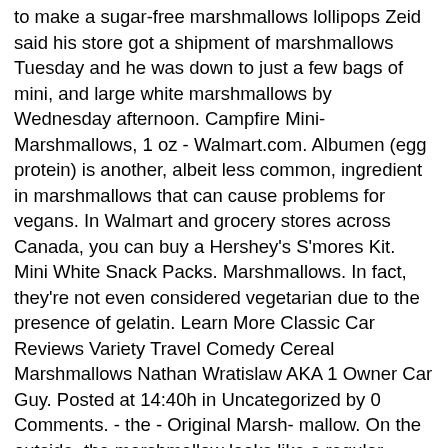to make a sugar-free marshmallows lollipops Zeid said his store got a shipment of marshmallows Tuesday and he was down to just a few bags of mini, and large white marshmallows by Wednesday afternoon. Campfire Mini-Marshmallows, 1 oz - Walmart.com. Albumen (egg protein) is another, albeit less common, ingredient in marshmallows that can cause problems for vegans. In Walmart and grocery stores across Canada, you can buy a Hershey's S'mores Kit. Mini White Snack Packs. Marshmallows. In fact, they're not even considered vegetarian due to the presence of gelatin. Learn More Classic Car Reviews Variety Travel Comedy Cereal Marshmallows Nathan Wratislaw AKA 1 Owner Car Guy. Posted at 14:40h in Uncategorized by 0 Comments. - the - Original Marsh- mallow. On the outside, the marshmallow looks like a regular marshmallow, but when you cut or bite into it, you'll see the real chocolate inside. jumbo marshmallows walmart. It's Winter there now and believe me there is nothing better Than hot chocolate with marshmallows coming in from the cold! Campfire ® has been America's premium marshmallow since 1917 and continues to be a crowd favorite. 0 Likes. Combine graham cracker crumbs, melted margarine and sugar in medium bowl; press into 13 x 9-inch (33 x 23-cm) glass or ceramic baking dish. PEEPS® Brand Marshmallow Candies are made by Just Born, Inc., a family-owned candy manufacturer. Enjoy